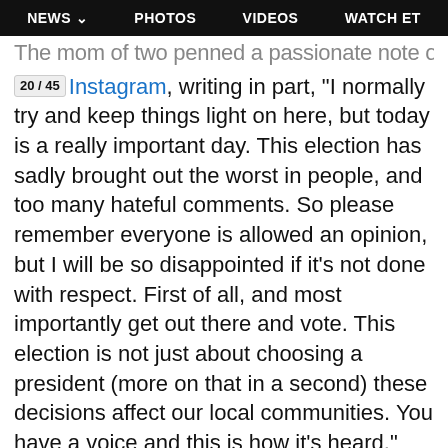NEWS  PHOTOS  VIDEOS  WATCH ET
The mom of two penned a passionate note on Instagram, writing in part, "I normally try and keep things light on here, but today is a really important day. This election has sadly brought out the worst in people, and too many hateful comments. So please remember everyone is allowed an opinion, but I will be so disappointed if it's not done with respect. First of all, and most importantly get out there and vote. This election is not just about choosing a president (more on that in a second) these decisions affect our local communities. You have a voice and this is how it's heard."